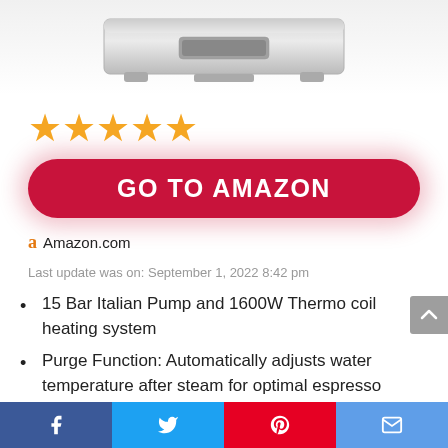[Figure (photo): Bottom portion of a silver/stainless steel kitchen appliance (espresso machine) shown on white background]
[Figure (other): Five golden/orange star rating icons]
[Figure (other): Red rounded button with white bold text: GO TO AMAZON]
Amazon.com
Last update was on: September 1, 2022 8:42 pm
15 Bar Italian Pump and 1600W Thermo coil heating system
Purge Function: Automatically adjusts water temperature after steam for optimal espresso